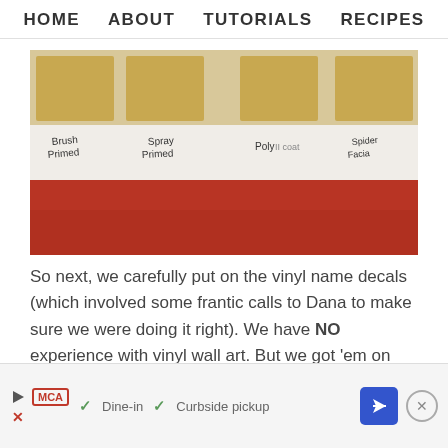HOME   ABOUT   TUTORIALS   RECIPES
[Figure (photo): Photo of wood samples labeled 'Brush Primed', 'Spray Primed', 'Poly', and 'Spider Facia' with wooden slats above and a red painted surface below]
So next, we carefully put on the vinyl name decals (which involved some frantic calls to Dana to make sure we were doing it right). We have NO experience with vinyl wall art. But we got ‘em on nice and straight.
[Figure (other): Advertisement bar with McAlister's Deli logo, play button, dine-in and curbside pickup options, navigation arrow icon, and close button]